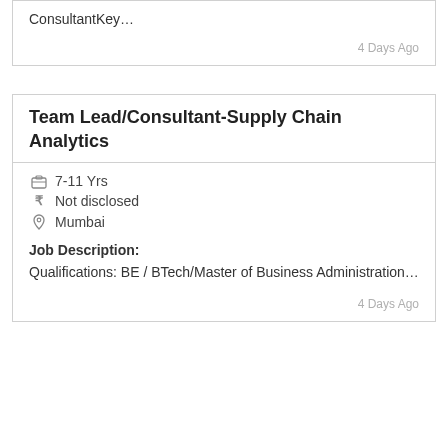ConsultantKey…
4 Days Ago
Team Lead/Consultant-Supply Chain Analytics
7-11 Yrs
Not disclosed
Mumbai
Job Description:
Qualifications: BE / BTech/Master of Business Administration…
4 Days Ago